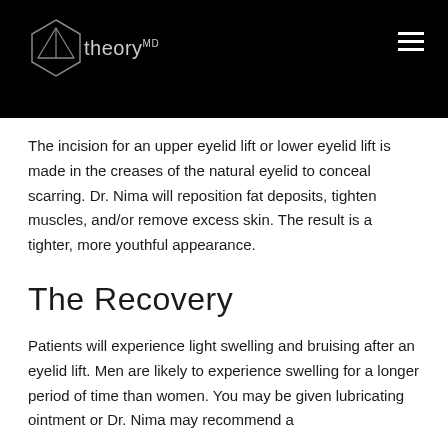[Figure (logo): TheoryMD logo with geometric diamond shape and 'theory MD' text on black header background]
The incision for an upper eyelid lift or lower eyelid lift is made in the creases of the natural eyelid to conceal scarring. Dr. Nima will reposition fat deposits, tighten muscles, and/or remove excess skin. The result is a tighter, more youthful appearance.
The Recovery
Patients will experience light swelling and bruising after an eyelid lift. Men are likely to experience swelling for a longer period of time than women. You may be given lubricating ointment or Dr. Nima may recommend a